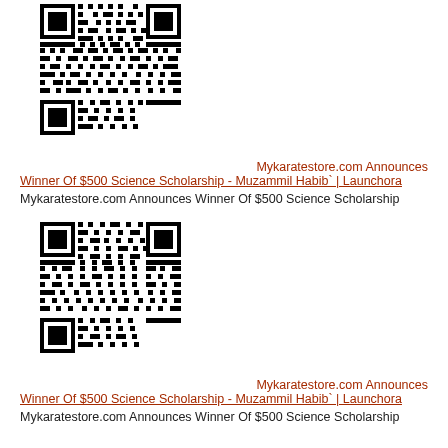[Figure (other): QR code image linking to Mykaratestore.com Launchora scholarship page]
Mykaratestore.com Announces Winner Of $500 Science Scholarship - Muzammil Habib` | Launchora
Mykaratestore.com Announces Winner Of $500 Science Scholarship
[Figure (other): QR code image linking to Mykaratestore.com Launchora scholarship page]
Mykaratestore.com Announces Winner Of $500 Science Scholarship - Muzammil Habib` | Launchora
Mykaratestore.com Announces Winner Of $500 Science Scholarship